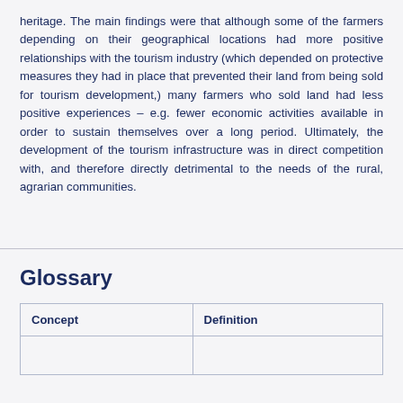heritage. The main findings were that although some of the farmers depending on their geographical locations had more positive relationships with the tourism industry (which depended on protective measures they had in place that prevented their land from being sold for tourism development,) many farmers who sold land had less positive experiences – e.g. fewer economic activities available in order to sustain themselves over a long period. Ultimately, the development of the tourism infrastructure was in direct competition with, and therefore directly detrimental to the needs of the rural, agrarian communities.
Glossary
| Concept | Definition |
| --- | --- |
|  |  |